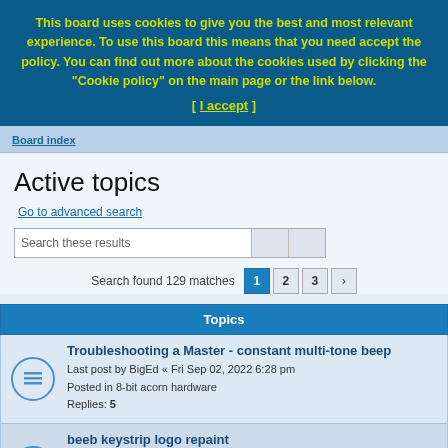This board uses cookies to give you the best and most relevant experience. To use this board this means that you need accept the policy. You can find out more about the cookies used by clicking the "Cookie policy" on the main page or the link below. [ I accept ]
Board index
Active topics
Go to advanced search
Search these results
Search found 129 matches   1  2  3  >
Topics
Troubleshooting a Master - constant multi-tone beep
Last post by BigEd « Fri Sep 02, 2022 6:28 pm
Posted in 8-bit acorn hardware
Replies: 5
beeb keystrip logo repaint
Last post by baz4096 « Fri Sep 02, 2022 6:23 pm
Posted in 8-bit acorn hardware
Replies: 15
OS_BYTE and mapped I/O issue
Last post by hoglet « Fri Sep 02, 2022 6:22 pm
Posted in 8-bit acorn software: other
Replies: 4